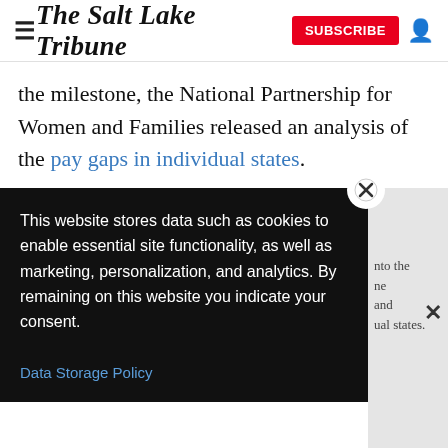The Salt Lake Tribune — SUBSCRIBE
the milestone, the National Partnership for Women and Families released an analysis of the pay gaps in individual states.
Utah continues to have one of the largest gender gaps in the country, based on the most recent data available
[Figure (screenshot): Cookie consent modal overlay with black background: 'This website stores data such as cookies to enable essential site functionality, as well as marketing, personalization, and analytics. By remaining on this website you indicate your consent.' with a 'Data Storage Policy' link. An X close button is in the top-right corner of the modal. A separate close X is visible at the far right.]